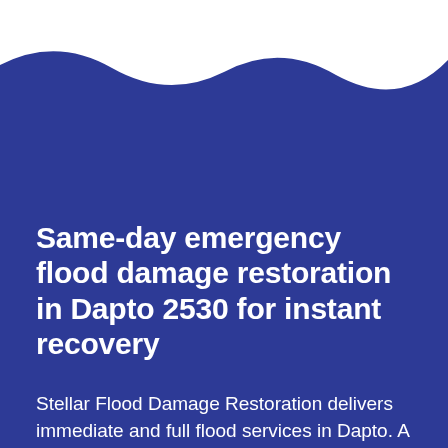[Figure (illustration): White wavy decorative shape across the top of the page against a dark blue background, creating a wave/water motif]
Same-day emergency flood damage restoration in Dapto 2530 for instant recovery
Stellar Flood Damage Restoration delivers immediate and full flood services in Dapto. A flood restoration specialist can come to your